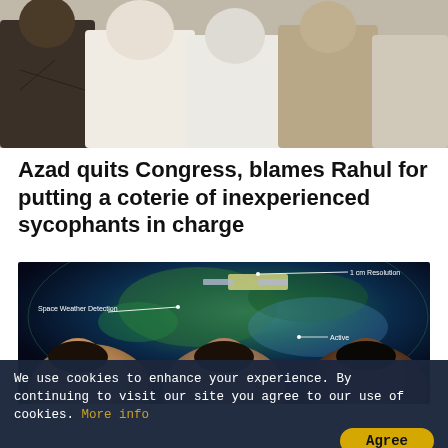[Figure (photo): Group of people sitting together, some in white kurtas, a woman in a sari, viewed from chest down]
Azad quits Congress, blames Rahul for putting a coterie of inexperienced sycophants in charge
[Figure (photo): Satellite imagery graphic of Earth with labels '1 cm Resolution', 'Space Weather Detection', 'Active', overlaid with faces of three young men]
We use cookies to enhance your experience. By continuing to visit our site you agree to our use of cookies. More info